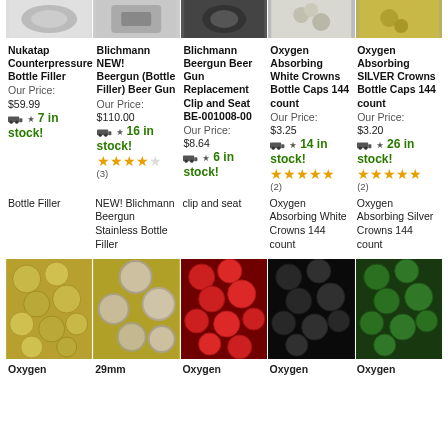[Figure (photo): Top row of product thumbnail images: bottle filler, beergun, replacement clip, white bottle caps, silver bottle caps]
Nukatap Counterpressure Bottle Filler Our Price: $59.99 🚚 7 in stock!
Blichmann NEW! Beergun (Bottle Filler) Beer Gun Our Price: $110.00 🚚 16 in stock! ★★★★☆ (3)
Blichmann Beergun Beer Gun Replacement Clip and Seat BE-001008-00 Our Price: $8.64 🚚 6 in stock!
Oxygen Absorbing White Crowns Bottle Caps 144 count Our Price: $3.25 🚚 14 in stock! ★★★★★ (2)
Oxygen Absorbing SILVER Crowns Bottle Caps 144 count Our Price: $3.20 🚚 26 in stock! ★★★★★ (2)
Bottle Filler
NEW! Blichmann Beergun Stainless Bottle Filler
clip and seat
Oxygen Absorbing White Crowns 144 count
Oxygen Absorbing Silver Crowns 144 count
[Figure (photo): Bottom image strip showing five photos of bottle caps: gold, gold (29mm), red, black, green]
Oxygen
29mm
Oxygen
Oxygen
Oxygen